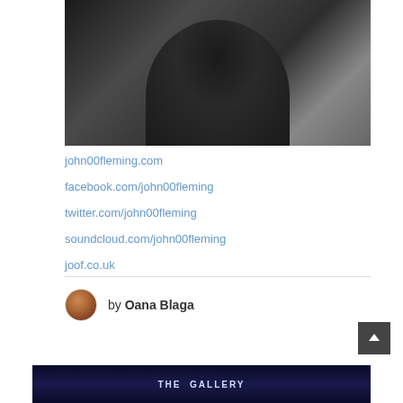[Figure (photo): Black and white portrait photo of a man with beard against a brick wall background]
john00fleming.com
facebook.com/john00fleming
twitter.com/john00fleming
soundcloud.com/john00fleming
joof.co.uk
by Oana Blaga
[Figure (photo): Partial banner at bottom showing THE GALLERY text on dark background]